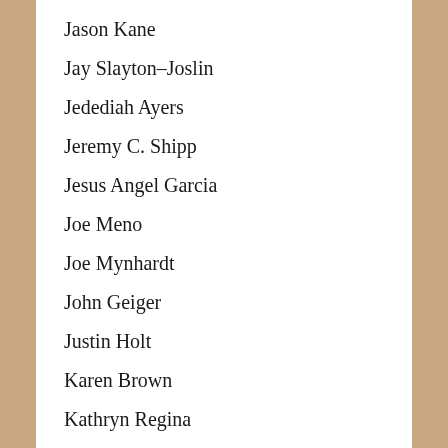Jason Kane
Jay Slayton–Joslin
Jedediah Ayers
Jeremy C. Shipp
Jesus Angel Garcia
Joe Meno
Joe Mynhardt
John Geiger
Justin Holt
Karen Brown
Kathryn Regina
Kathy Fish